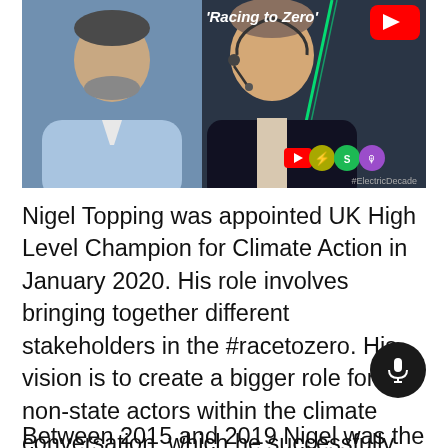[Figure (screenshot): YouTube thumbnail or podcast screenshot showing two men - one in a blue shirt with beard on the left, one in a dark jacket with headset microphone on the right. Text 'Racing to Zero' visible in top right. YouTube, Spotify, and Apple Podcast icons visible. Hashtag #ElectricDecade shown. Green diagonal light streak visible.]
Nigel Topping was appointed UK High Level Champion for Climate Action in January 2020. His role involves bringing together different stakeholders in the #racetozero. His vision is to create a bigger role for non-state actors within the climate conversation, which he successfully managed in the Paris Agreements.
Between 2015 and 2019 Nigel was the CEO